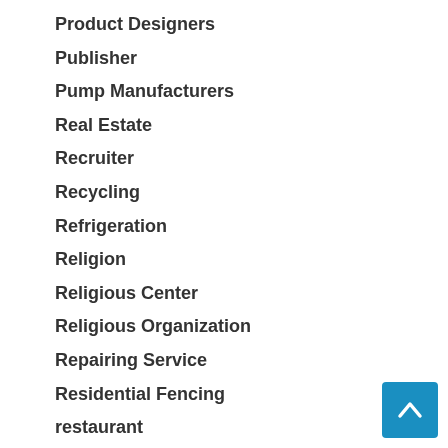Product Designers
Publisher
Pump Manufacturers
Real Estate
Recruiter
Recycling
Refrigeration
Religion
Religious Center
Religious Organization
Repairing Service
Residential Fencing
restaurant
Restaurant Industry
Restaurant Supplies Store
Restaurants
Restoration Service